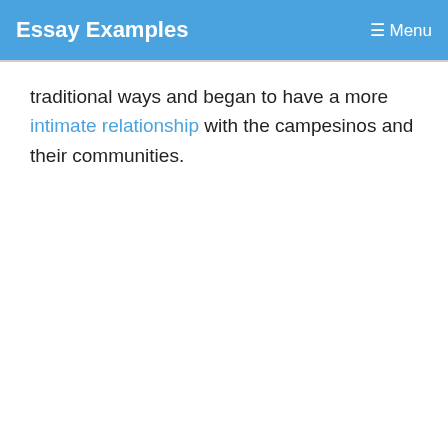Essay Examples   Menu
traditional ways and began to have a more intimate relationship with the campesinos and their communities.